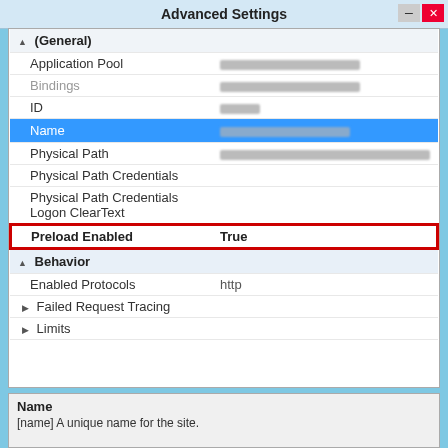Advanced Settings
[Figure (screenshot): Windows IIS Advanced Settings dialog showing site properties. (General) section expanded with fields: Application Pool (blurred), Bindings (blurred), ID (blurred), Name (selected/highlighted in blue), Physical Path (blurred), Physical Path Credentials, Physical Path Credentials Logon ClearText, Preload Enabled = True (highlighted with red border). Behavior section with Enabled Protocols = http, Failed Request Tracing (collapsed), Limits (collapsed). Bottom panel shows Name description: [name] A unique name for the site.]
Name
[name] A unique name for the site.